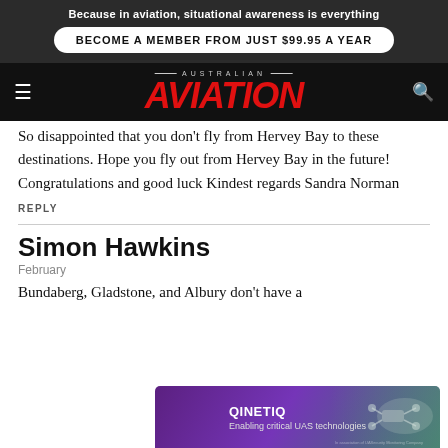Because in aviation, situational awareness is everything
BECOME A MEMBER FROM JUST $99.95 A YEAR
[Figure (logo): Australian Aviation magazine logo with red italic AVIATION text on black navbar]
So disappointed that you don't fly from Hervey Bay to these destinations. Hope you fly out from Hervey Bay in the future! Congratulations and good luck Kindest regards Sandra Norman
REPLY
Simon Hawkins
February
Bundaberg, Gladstone, and Albury don't have a
[Figure (other): QinetiQ advertisement banner: Enabling critical UAS technologies, purple/teal gradient background with drone imagery]